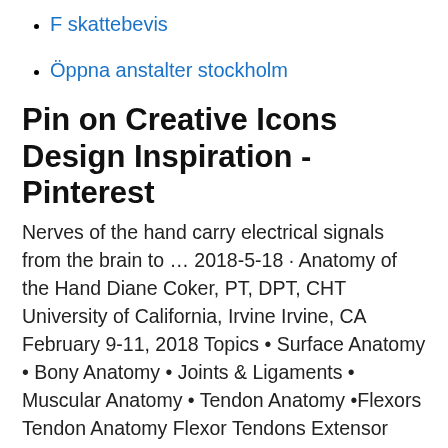F skattebevis
Öppna anstalter stockholm
Pin on Creative Icons Design Inspiration - Pinterest
Nerves of the hand carry electrical signals from the brain to … 2018-5-18 · Anatomy of the Hand Diane Coker, PT, DPT, CHT University of California, Irvine Irvine, CA February 9-11, 2018 Topics • Surface Anatomy • Bony Anatomy • Joints & Ligaments • Muscular Anatomy • Tendon Anatomy •Flexors Tendon Anatomy Flexor Tendons Extensor Tendons. 2015-1-15 · The structures of the hand include bones, joints, ligaments, tendons, muscles, nerves, and blood vessels. Bones of the hand. The 27